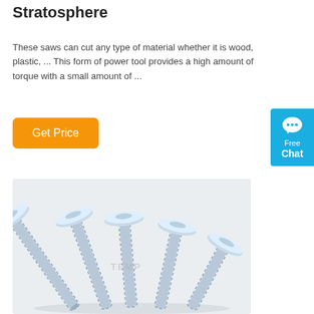Stratosphere
These saws can cut any type of material whether it is wood, plastic, ... This form of power tool provides a high amount of torque with a small amount of ...
[Figure (other): Orange 'Get Price' button and a blue 'Free Chat' widget on the right side]
[Figure (photo): Multiple zinc-plated mushroom head self-drilling screws fanned out on a white background, showing threaded shafts and wide round heads]